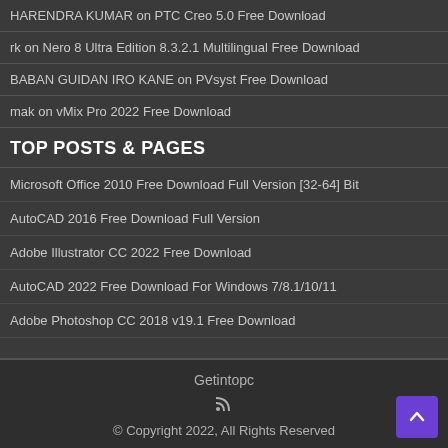HARENDRA KUMAR on PTC Creo 5.0 Free Download
rk on Nero 8 Ultra Edition 8.3.2.1 Multilingual Free Download
BABAN GUIDAN IRO KANE on PVsyst Free Download
mak on vMix Pro 2022 Free Download
TOP POSTS & PAGES
Microsoft Office 2010 Free Download Full Version [32-64] Bit
AutoCAD 2016 Free Download Full Version
Adobe Illustrator CC 2022 Free Download
AutoCAD 2022 Free Download For Windows 7/8.1/10/11
Adobe Photoshop CC 2018 v19.1 Free Download
Getintopc
© Copyright 2022, All Rights Reserved